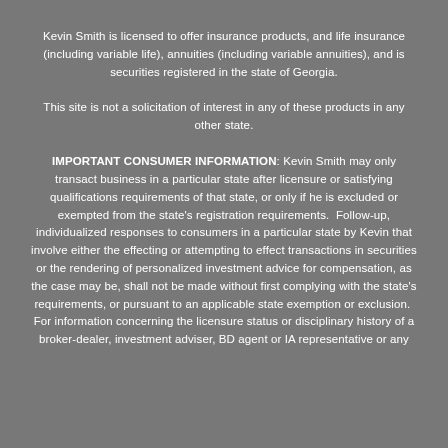Kevin Smith is licensed to offer insurance products, and life insurance (including variable life), annuities (including variable annuities), and is securities registered in the state of Georgia.
This site is not a solicitation of interest in any of these products in any other state.
IMPORTANT CONSUMER INFORMATION: Kevin Smith may only transact business in a particular state after licensure or satisfying qualifications requirements of that state, or only if he is excluded or exempted from the state's registration requirements. Follow-up, individualized responses to consumers in a particular state by Kevin that involve either the effecting or attempting to effect transactions in securities or the rendering of personalized investment advice for compensation, as the case may be, shall not be made without first complying with the state's requirements, or pursuant to an applicable state exemption or exclusion. For information concerning the licensure status or disciplinary history of a broker-dealer, investment adviser, BD agent or IA representative or any